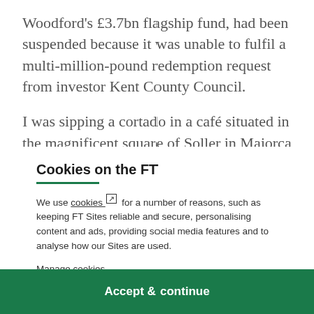Woodford's £3.7bn flagship fund, had been suspended because it was unable to fulfil a multi-million-pound redemption request from investor Kent County Council.
I was sipping a cortado in a café situated in the magnificent square of Soller in Majorca when I first
Cookies on the FT
We use cookies ↗ for a number of reasons, such as keeping FT Sites reliable and secure, personalising content and ads, providing social media features and to analyse how our Sites are used.
Manage cookies
Accept & continue